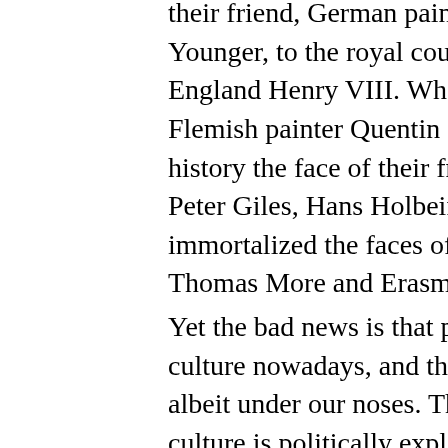their friend, German painter Hans Holbein the Younger, to the royal court of the king of England Henry VIII. Whereas the great Flemish painter Quentin Matsys saved for history the face of their friend in Antwerp, Peter Giles, Hans Holbein the Younger immortalized the faces of his benefactor Thomas More and Erasmus of Rotterdam.
Yet the bad news is that politics colonized culture nowadays, and this went unnoticed, albeit under our noses. This is not to say that culture is politically exploited and vulgarized for long- or short-term political ends and objectives. In a democratic political setting, culture is separated from politics. An instrumentalist approach to culture immediately betrays